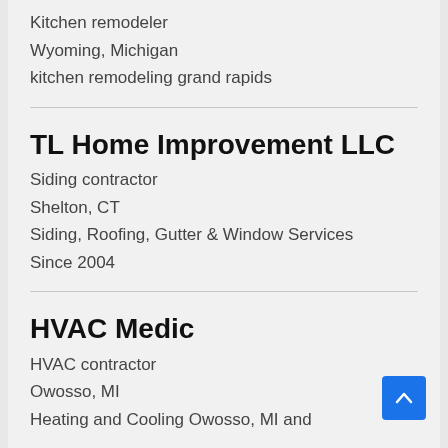Kitchen remodeler
Wyoming, Michigan
kitchen remodeling grand rapids
TL Home Improvement LLC
Siding contractor
Shelton, CT
Siding, Roofing, Gutter & Window Services
Since 2004
HVAC Medic
HVAC contractor
Owosso, MI
Heating and Cooling Owosso, MI and